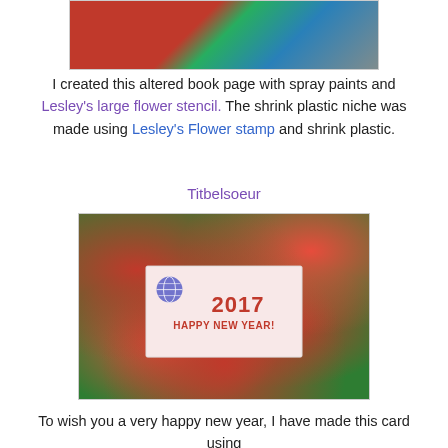[Figure (photo): Partial top image showing an altered book page with red flowers and green leaves created with spray paints]
I created this altered book page with spray paints and Lesley's large flower stencil. The shrink plastic niche was made using Lesley's Flower stamp and shrink plastic.
Titbelsoeur
[Figure (photo): A 2017 Happy New Year card placed among Christmas decorations including red tinsel, pine branches, and ornaments]
To wish you a very happy new year, I have made this card using